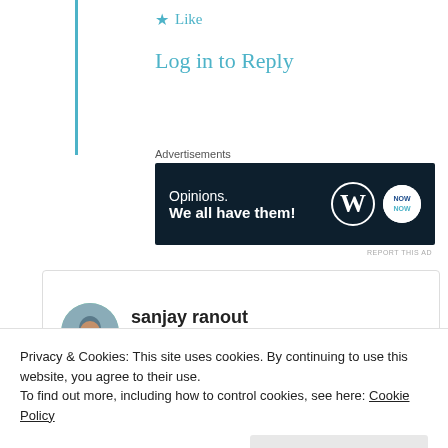★ Like
Log in to Reply
Advertisements
[Figure (illustration): Dark navy advertisement banner reading 'Opinions. We all have them!' with WordPress logo and another circular logo on the right.]
REPORT THIS AD
sanjay ranout
24th Aug 2021 at 9:35 am
Truthful feelings
Privacy & Cookies: This site uses cookies. By continuing to use this website, you agree to their use.
To find out more, including how to control cookies, see here: Cookie Policy
Close and accept